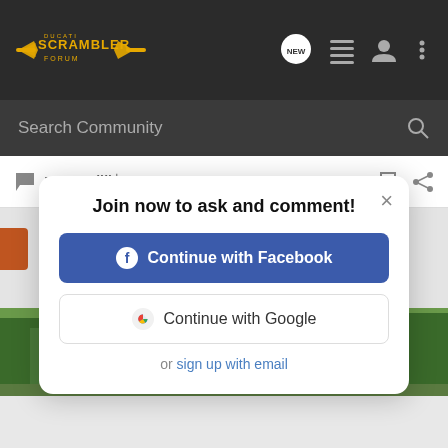Ducati Scrambler Forum
Search Community
Reply   Quote
Join now to ask and comment!
Continue with Facebook
Continue with Google
or sign up with email